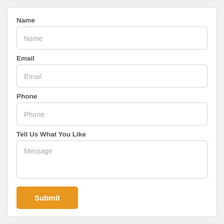Name
[Figure (screenshot): Text input field with placeholder text 'Name']
Email
[Figure (screenshot): Text input field with placeholder text 'Email']
Phone
[Figure (screenshot): Text input field with placeholder text 'Phone']
Tell Us What You Like
[Figure (screenshot): Textarea input field with placeholder text 'Message']
Submit